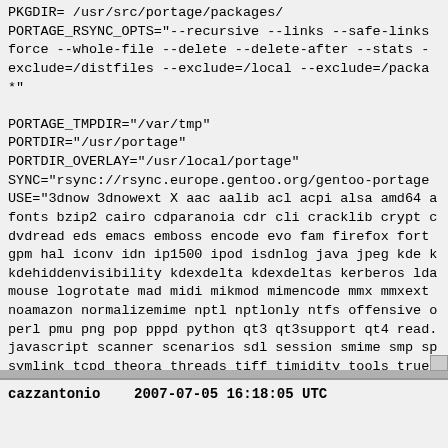PKGDIR= /usr/src/portage/packages/
PORTAGE_RSYNC_OPTS="--recursive --links --safe-links --force --whole-file --delete --delete-after --stats --exclude=/distfiles --exclude=/local --exclude=/packa*"

PORTAGE_TMPDIR="/var/tmp"
PORTDIR="/usr/portage"
PORTDIR_OVERLAY="/usr/local/portage"
SYNC="rsync://rsync.europe.gentoo.org/gentoo-portage
USE="3dnow 3dnowext X aac aalib acl acpi alsa amd64 ... fonts bzip2 cairo cdparanoia cdr cli cracklib crypt ... dvdread eds emacs emboss encode evo fam firefox fort... gpm hal iconv idn ip1500 ipod isdnlog java jpeg kde ... kdehiddenvisibility kdexdelta kdexdeltas kerberos ld... mouse logrotate mad midi mikmod mimencode mmx mmxext... noamazon normalizemime nptl nptlonly ntfs offensive ... perl pmu png pop pppd python qt3 qt3support qt4 read... javascript scanner scenarios sdl session smime smp s... symlink tcpd theora threads tiff timidity tools true... unicode usb v4l vorbis x264 xml xorg xv xvid zlib" A... ALSA_PCM_PLUGINS="adpcm alaw asym copy dmix dshare d... iec958 ioplug ladspa lfloat linear meter mulaw multi... softvol" ELIBC="glibc" INPUT_DEVICES="keyboard mouse... LCD_DEVICES="bayrad cfontz cfontz633 glk hd44780 lb2... LINGUAS="de" USERLAND="GNU" VIDEO_CARDS="fglrx radeo... Unset:  CTARGET, EMERGE_DEFAULT_OPTS, INSTALL_MASK,
PORTAGE_COMPRESS_FLAGS, PORTAGE_RSYNC_EXTRA_OPTS
cazzantonio    2007-07-05 16:18:05 UTC